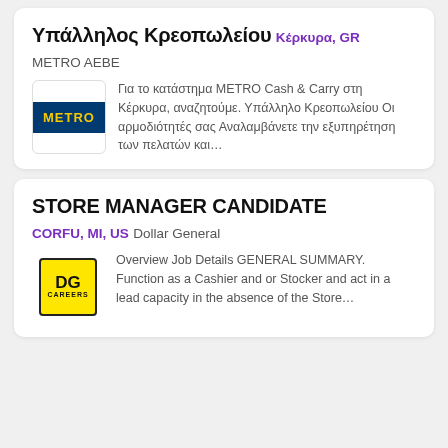Υπάλληλος Κρεοπωλείου
Κέρκυρα, GR
METRO AEBE
Για το κατάστημα METRO Cash & Carry στη Κέρκυρα, αναζητούμε. Υπάλληλο Κρεοπωλείου Οι αρμοδιότητές σας Αναλαμβάνετε την εξυπηρέτηση των πελατών και...
STORE MANAGER CANDIDATE
CORFU, MI, US
Dollar General
Overview Job Details GENERAL SUMMARY. Function as a Cashier and or Stocker and act in a lead capacity in the absence of the Store...